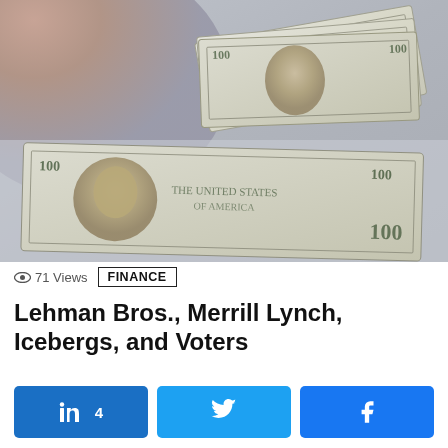[Figure (photo): Blurred photo of US $100 dollar bills fanned out on a surface, with a hand partially visible in the upper left corner]
71 Views
FINANCE
Lehman Bros., Merrill Lynch, Icebergs, and Voters
[Figure (other): LinkedIn share button showing count of 4]
[Figure (other): Twitter share button]
[Figure (other): Facebook share button]